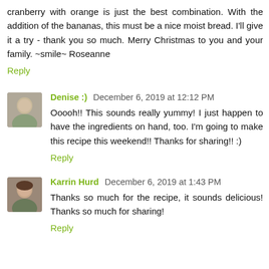cranberry with orange is just the best combination. With the addition of the bananas, this must be a nice moist bread. I'll give it a try - thank you so much. Merry Christmas to you and your family. ~smile~ Roseanne
Reply
Denise :) December 6, 2019 at 12:12 PM
Ooooh!! This sounds really yummy! I just happen to have the ingredients on hand, too. I'm going to make this recipe this weekend!! Thanks for sharing!! :)
Reply
Karrin Hurd December 6, 2019 at 1:43 PM
Thanks so much for the recipe, it sounds delicious! Thanks so much for sharing!
Reply